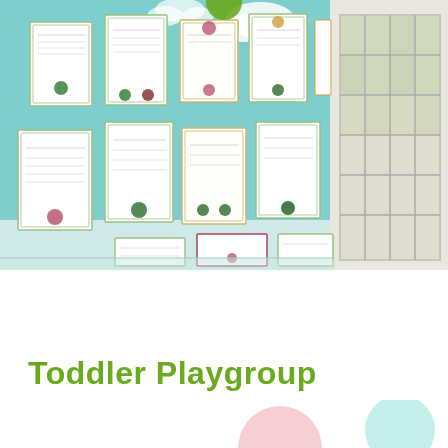[Figure (photo): Interior photo of a room with a light teal/aqua painted wall decorated with numerous framed certificates and awards arranged in rows. There are cloud decorations painted near the top of the wall. On the right side is a large grid window letting in natural light.]
Toddler Playgroup